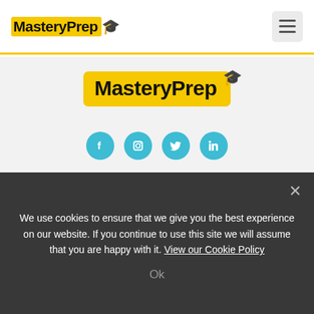MasteryPrep [logo] + hamburger menu
[Figure (logo): MasteryPrep logo with yellow highlight background and graduation cap icon, centered on gray background]
[Figure (infographic): Row of four teal social media icon circles: Facebook, Instagram, Twitter, LinkedIn]
Tests:
ACT
ACT/SAT (partially visible)
We use cookies to ensure that we give you the best experience on our website. If you continue to use this site we will assume that you are happy with it. View our Cookie Policy
Ok